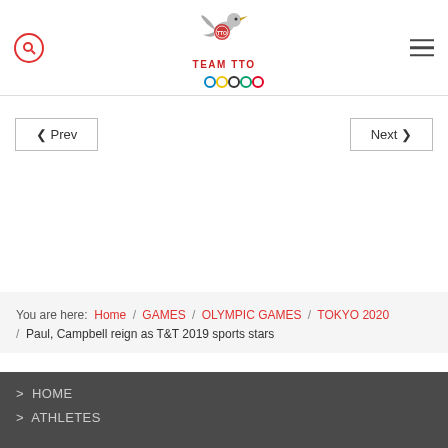[Figure (logo): Team TTO Olympic logo with bird and Olympic rings]
◄ Prev
Next ►
You are here:  Home  /  GAMES  /  OLYMPIC GAMES  /  TOKYO 2020  /  Paul, Campbell reign as T&T 2019 sports stars
> HOME
> ATHLETES